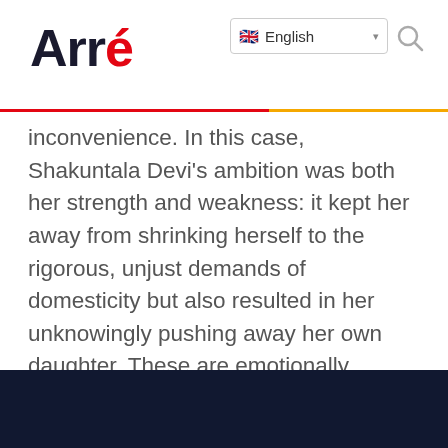Arré | English
inconvenience. In this case, Shakuntala Devi's ambition was both her strength and weakness: it kept her away from shrinking herself to the rigorous, unjust demands of domesticity but also resulted in her unknowingly pushing away her own daughter. These are emotionally intelligent threads for a film to cover but Shakuntala Devi's on-the-nose filmmaking dumbs them down to an extent that the plot loses its sheen.